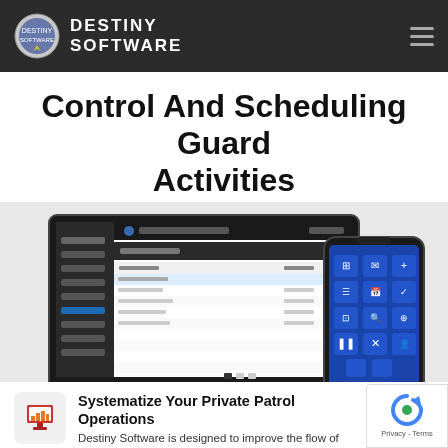DESTINY SOFTWARE
Control And Scheduling Guard Activities
Making Security Teams More Efficient And Secure Data
[Figure (screenshot): Screenshot of Destiny Software web dashboard on a laptop with dark sidebar navigation and data table, alongside a mobile app screenshot showing a blue grid of icon buttons for guard management functions.]
[Figure (logo): Red and orange pixelated bar chart icon representing software analytics.]
Systematize Your Private Patrol Operations
Destiny Software is designed to improve the flow of